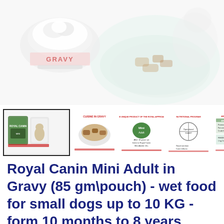[Figure (photo): Hero image of Royal Canin Mini Adult in Gravy wet dog food — faded/watermarked product photo showing a bowl of food with 'GRAVY' text and a plate, light mint/white background]
[Figure (photo): Thumbnail strip showing 7 product detail images: first thumbnail (active/selected) shows Royal Canin Mini Adult pouch with dog, followed by food bowl closeup, product info graphic, feeding guide diagram, nutritional analysis table, feeding table, and partially visible last thumbnail]
Royal Canin Mini Adult in Gravy (85 gm\pouch) - wet food for small dogs up to 10 KG - form 10 months to 8 years